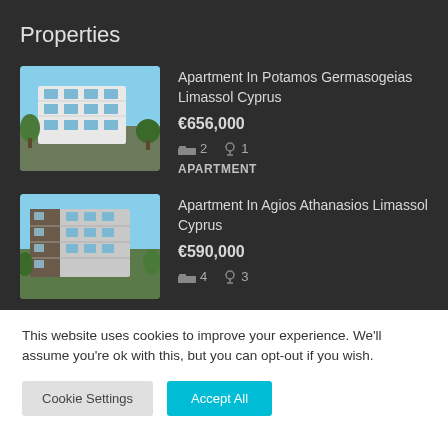Properties
[Figure (photo): Apartment building photo - Potamos Germasogeias Limassol Cyprus]
Apartment In Potamos Germasogeias Limassol Cyprus
€656,000
🛏 2  🚿 1
APARTMENT
[Figure (photo): Apartment building photo - Agios Athanasios Limassol Cyprus]
Apartment In Agios Athanasios Limassol Cyprus
€590,000
🛏 4  🚿 3
This website uses cookies to improve your experience. We'll assume you're ok with this, but you can opt-out if you wish.
Cookie Settings   Accept All